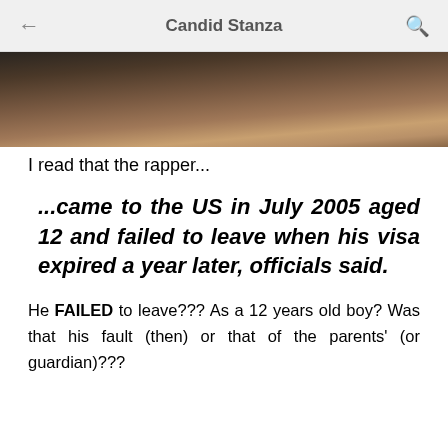Candid Stanza
[Figure (photo): Partial photo of a person, cropped showing lower face/chin area with blurred background]
I read that the rapper...
...came to the US in July 2005 aged 12 and failed to leave when his visa expired a year later, officials said.
He FAILED to leave??? As a 12 years old boy? Was that his fault (then) or that of the parents' (or guardian)???